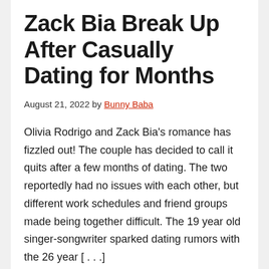Zack Bia Break Up After Casually Dating for Months
August 21, 2022 by Bunny Baba
Olivia Rodrigo and Zack Bia's romance has fizzled out! The couple has decided to call it quits after a few months of dating. The two reportedly had no issues with each other, but different work schedules and friend groups made being together difficult. The 19 year old singer-songwriter sparked dating rumors with the 26 year [...]